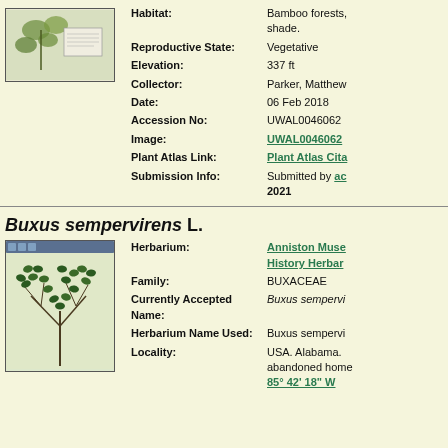[Figure (photo): Herbarium specimen photo thumbnail (top record) showing plant with label card]
Habitat: Bamboo forests, shade.
Reproductive State: Vegetative
Elevation: 337 ft
Collector: Parker, Matthew
Date: 06 Feb 2018
Accession No: UWAL0046062
Image: UWAL0046062
Plant Atlas Link: Plant Atlas Cita
Submission Info: Submitted by ac 2021
Buxus sempervirens L.
[Figure (photo): Herbarium specimen photo thumbnail (bottom record) showing Buxus sempervirens plant specimen with green leaves]
Herbarium: Anniston Museum of History Herbar
Family: BUXACEAE
Currently Accepted Name: Buxus sempervi
Herbarium Name Used: Buxus sempervi
Locality: USA. Alabama. abandoned home 85° 42' 18" W